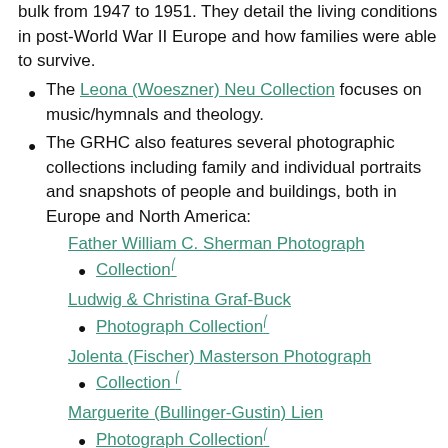bulk from 1947 to 1951. They detail the living conditions in post-World War II Europe and how families were able to survive.
The Leona (Woeszner) Neu Collection focuses on music/hymnals and theology.
The GRHC also features several photographic collections including family and individual portraits and snapshots of people and buildings, both in Europe and North America:
Father William C. Sherman Photograph Collection
Ludwig & Christina Graf-Buck Photograph Collection
Jolenta (Fischer) Masterson Photograph Collection
Marguerite (Bullinger-Gustin) Lien Photograph Collection